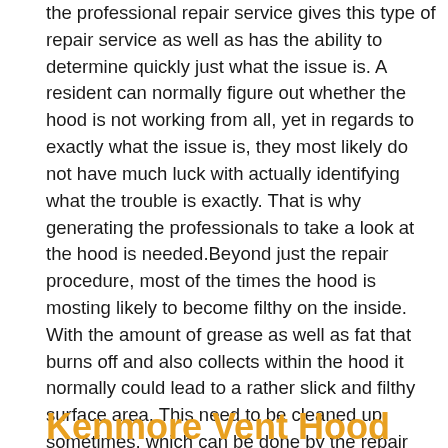the professional repair service gives this type of repair service as well as has the ability to determine quickly just what the issue is. A resident can normally figure out whether the hood is not working from all, yet in regards to exactly what the issue is, they most likely do not have much luck with actually identifying what the trouble is exactly. That is why generating the professionals to take a look at the hood is needed.Beyond just the repair procedure, most of the times the hood is mosting likely to become filthy on the inside. With the amount of grease as well as fat that burns off and also collects within the hood it normally could lead to a rather slick and filthy surface area. This need to be cleaned up sometimes, which can be done by the repair experts also. So, whatever the trouble is or what kind of solution is required, it is always a great idea to bring in repair service specialists to help assist with the kitchen range hood repair work needs.
Kenmore Vent Hood